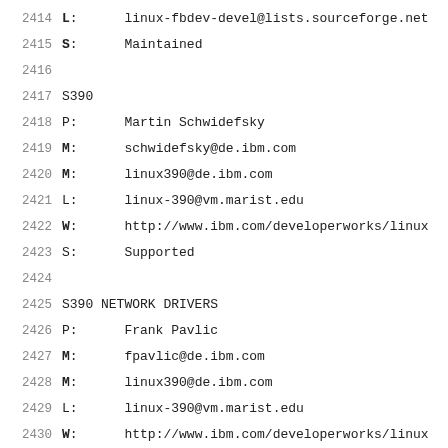2414    L:      linux-fbdev-devel@lists.sourceforge.net
2415    S:      Maintained
2416
2417    S390
2418    P:      Martin Schwidefsky
2419    M:      schwidefsky@de.ibm.com
2420    M:      linux390@de.ibm.com
2421    L:      linux-390@vm.marist.edu
2422    W:      http://www.ibm.com/developerworks/linux
2423    S:      Supported
2424
2425    S390 NETWORK DRIVERS
2426    P:      Frank Pavlic
2427    M:      fpavlic@de.ibm.com
2428    M:      linux390@de.ibm.com
2429    L:      linux-390@vm.marist.edu
2430    W:      http://www.ibm.com/developerworks/linux
2431    S:      Supported
2432
2433    S390 ZFCP DRIVER
2434    P:      Andreas Herrmann
2435    M:      ...